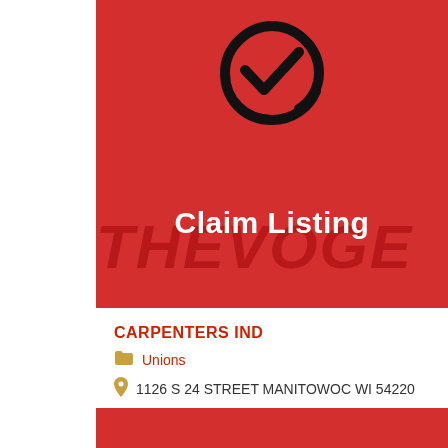[Figure (illustration): Red banner image with a black circular checkmark icon and the text 'Claim Listing' in white bold font. Background has faint red decorative text.]
CARPENTERS IND
Unions
1126 S 24 STREET MANITOWOC WI 54220